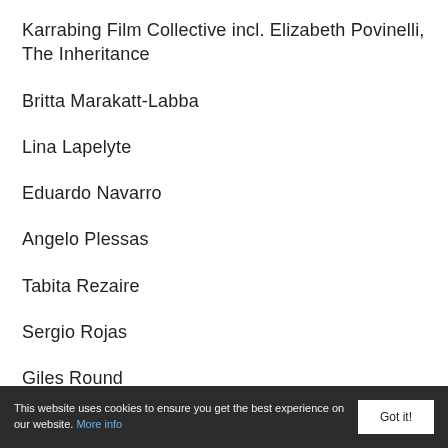Karrabing Film Collective incl. Elizabeth Povinelli, The Inheritance
Britta Marakatt-Labba
Lina Lapelyte
Eduardo Navarro
Angelo Plessas
Tabita Rezaire
Sergio Rojas
Giles Round
This website uses cookies to ensure you get the best experience on our website. More info   Got it!